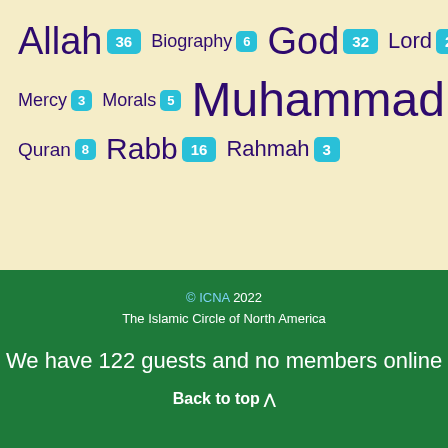[Figure (infographic): Tag cloud showing Islamic topic categories with counts: Allah 36, Biography 6, God 32, Lord 23, Mercy 3, Morals 5, Muhammad 47, Quran 8, Rabb 16, Rahmah 3. Words sized by frequency on a cream/yellow background.]
© ICNA 2022
The Islamic Circle of North America

We have 122 guests and no members online

Back to top
We have 122 guests and no members online